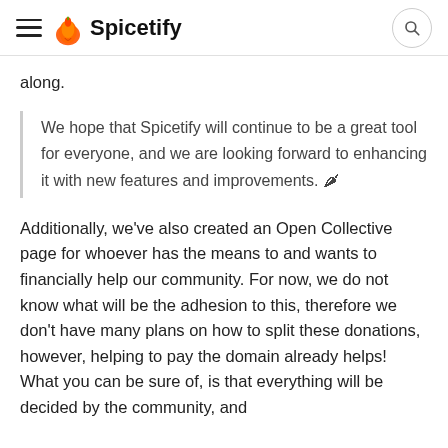Spicetify
along.
We hope that Spicetify will continue to be a great tool for everyone, and we are looking forward to enhancing it with new features and improvements. 🌶
Additionally, we've also created an Open Collective page for whoever has the means to and wants to financially help our community. For now, we do not know what will be the adhesion to this, therefore we don't have many plans on how to split these donations, however, helping to pay the domain already helps! What you can be sure of, is that everything will be decided by the community, and